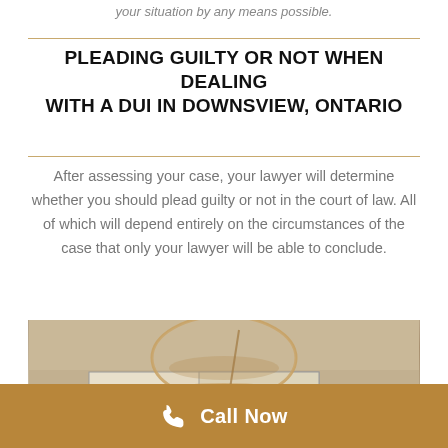your situation by any means possible.
PLEADING GUILTY OR NOT WHEN DEALING WITH A DUI IN DOWNSVIEW, ONTARIO
After assessing your case, your lawyer will determine whether you should plead guilty or not in the court of law. All of which will depend entirely on the circumstances of the case that only your lawyer will be able to conclude.
[Figure (photo): Photo of a glass bowl/cup resting on papers with printed text, likely related to a DUI case document.]
Call Now